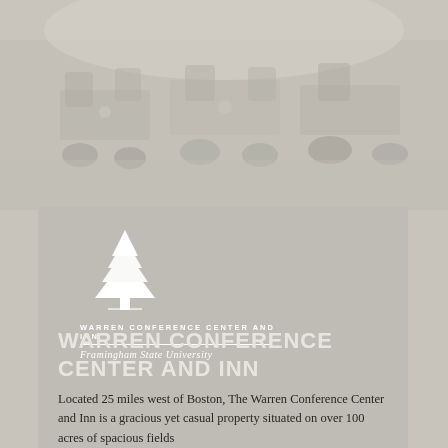[Figure (photo): Interior photo of a conference/banquet room with chairs and tables, displayed in muted grayscale tones]
[Figure (logo): Warren Conference Center and Inn logo with white pine tree icon, text 'WARREN CONFERENCE CENTER AND INN' in uppercase letters, horizontal divider line, and 'Framingham State University' in italic below]
WARREN CONFERENCE CENTER AND INN
Located 25 miles west of Boston, The Warren Conference Center and Inn is a gracious yet casual property situated on over 100 acres of spacious fields